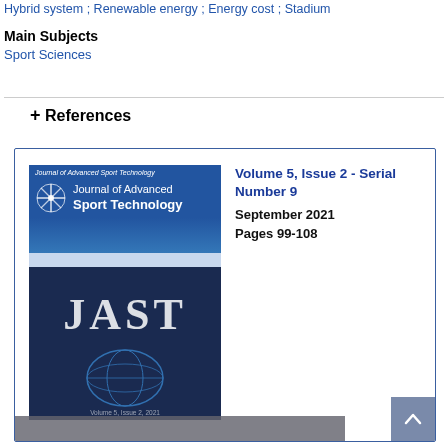Hybrid system ; Renewable energy ; Energy cost ; Stadium
Main Subjects
Sport Sciences
+ References
[Figure (screenshot): Journal of Advanced Sport Technology journal cover and metadata box showing Volume 5, Issue 2 - Serial Number 9, September 2021, Pages 99-108, with a cookie consent overlay and Got it! button]
This website uses cookies to ensure you get the best experience on our website.
Got it!